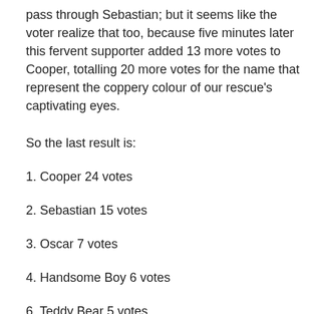pass through Sebastian; but it seems like the voter realize that too, because five minutes later this fervent supporter added 13 more votes to Cooper, totalling 20 more votes for the name that represent the coppery colour of our rescue's captivating eyes.
So the last result is:
1. Cooper 24 votes
2. Sebastian 15 votes
3. Oscar 7 votes
4. Handsome Boy 6 votes
6. Teddy Bear 5 votes